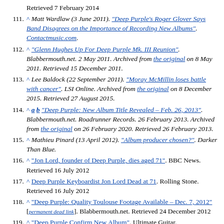Retrieved 7 February 2014
111. ^ Matt Wardlaw (3 June 2011). "Deep Purple's Roger Glover Says Band Disagrees on the Importance of Recording New Albums". Contactmusic.com.
112. ^ "Glenn Hughes Up For Deep Purple Mk. III Reunion". Blabbermouth.net. 2 May 2011. Archived from the original on 8 May 2011. Retrieved 15 December 2011.
113. ^ Lee Baldock (22 September 2011). "Moray McMillin loses battle with cancer". LSI Online. Archived from the original on 8 December 2015. Retrieved 27 August 2015.
114. ^ a b "Deep Purple: New Album Title Revealed – Feb. 26, 2013". Blabbermouth.net. Roadrunner Records. 26 February 2013. Archived from the original on 26 February 2020. Retrieved 26 February 2013.
115. ^ Mathieu Pinard (13 April 2012). "Album producer chosen?". Darker Than Blue.
116. ^ "Jon Lord, founder of Deep Purple, dies aged 71". BBC News. Retrieved 16 July 2012
117. ^ Deep Purple Keyboardist Jon Lord Dead at 71. Rolling Stone. Retrieved 16 July 2012
118. ^ "Deep Purple: Quality Toulouse Footage Available – Dec. 7, 2012"[permanent dead link]. Blabbermouth.net. Retrieved 24 December 2012
119. ^ "Deep Purple Confirm New Album". Ultimate Guitar.
120. ^ "DEEP PURPLE Completes Recording New Album"